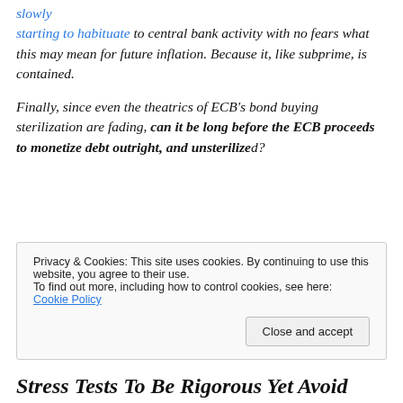slowly starting to habituate to central bank activity with no fears what this may mean for future inflation. Because it, like subprime, is contained.
Finally, since even the theatrics of ECB's bond buying sterilization are fading, can it be long before the ECB proceeds to monetize debt outright, and unsterilized?
Privacy & Cookies: This site uses cookies. By continuing to use this website, you agree to their use. To find out more, including how to control cookies, see here: Cookie Policy
Stress Tests To Be Rigorous Yet Avoid